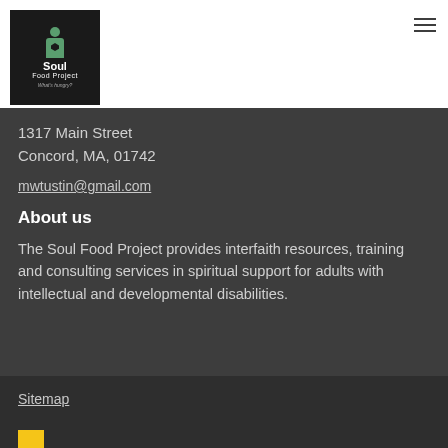[Figure (logo): Soul Food Project logo — black box with green figure icon and white text reading 'Soul Food Project' with tagline 'What's hungry?']
1317 Main Street
Concord, MA, 01742
mwtustin@gmail.com
About us
The Soul Food Project provides interfaith resources, training and consulting services in spiritual support for adults with intellectual and developmental disabilities.
Sitemap